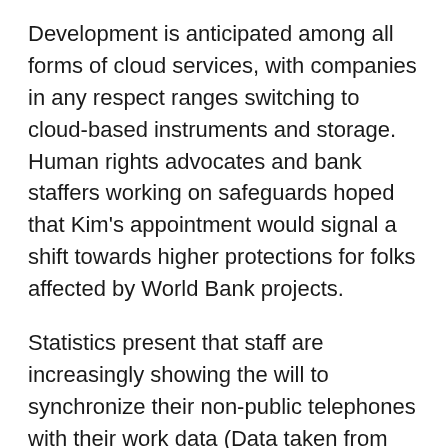Development is anticipated among all forms of cloud services, with companies in any respect ranges switching to cloud-based instruments and storage. Human rights advocates and bank staffers working on safeguards hoped that Kim's appointment would signal a shift towards higher protections for folks affected by World Bank projects.
Statistics present that staff are increasingly showing the will to synchronize their non-public telephones with their work data (Data taken from “The Gadget Dilemma”, report by market analysis firm Vanson Bourne). This was lengthy not potential on account of safety risks. Due to Push Mail, Point-to-Level Synchronization and Distant Wipe, MyLink makes it possible to supply employees with their work emails on the street and also through their non-public Android telephones.